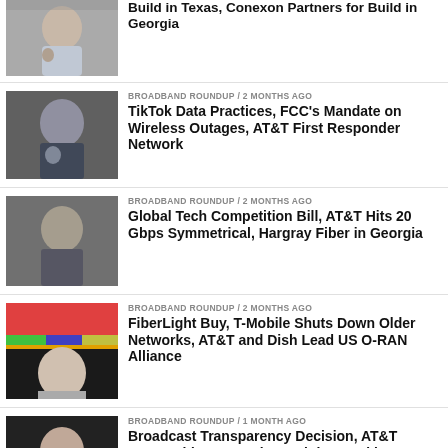BROADBAND ROUNDUP / 2 months ago — Broadband Prices Decline, AT&T Fiber Build in Texas, Conexon Partners for Build in Georgia
BROADBAND ROUNDUP / 2 months ago — TikTok Data Practices, FCC's Mandate on Wireless Outages, AT&T First Responder Network
BROADBAND ROUNDUP / 2 months ago — Global Tech Competition Bill, AT&T Hits 20 Gbps Symmetrical, Hargray Fiber in Georgia
BROADBAND ROUNDUP / 2 months ago — FiberLight Buy, T-Mobile Shuts Down Older Networks, AT&T and Dish Lead US O-RAN Alliance
BROADBAND ROUNDUP / 1 month ago — Broadcast Transparency Decision, AT&T McDonald's Expansion, Brightspeed in Missouri
#BROADBANDLIVE / 2 months ago